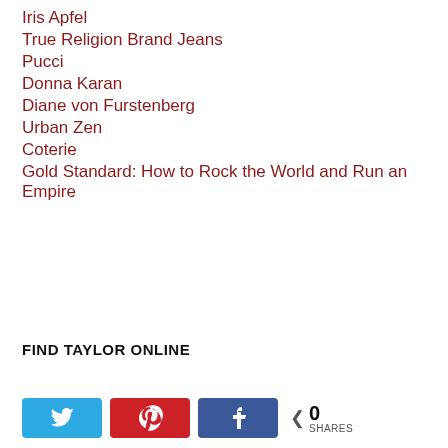Iris Apfel
True Religion Brand Jeans
Pucci
Donna Karan
Diane von Furstenberg
Urban Zen
Coterie
Gold Standard: How to Rock the World and Run an Empire
FIND TAYLOR ONLINE
[Figure (infographic): Social sharing buttons: Twitter (blue), Pinterest (red), Facebook (blue), and a share count showing 0 SHARES]